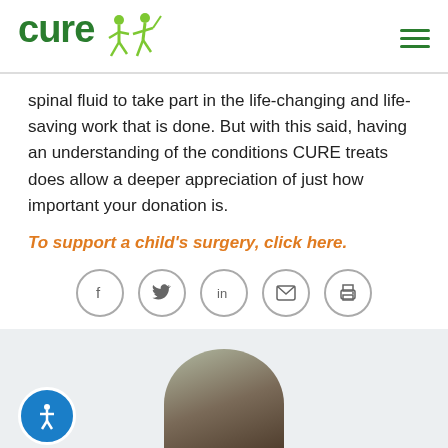CURE (logo with figures)
spinal fluid to take part in the life-changing and life-saving work that is done. But with this said, having an understanding of the conditions CURE treats does allow a deeper appreciation of just how important your donation is.
To support a child's surgery, click here.
[Figure (other): Row of five social sharing icon buttons: Facebook (f), Twitter (bird), LinkedIn (in), Email (envelope), Print (printer)]
[Figure (photo): Bottom section with light gray background showing top of a child's head in a circular cropped photo, and an accessibility button (person icon) in the lower left.]